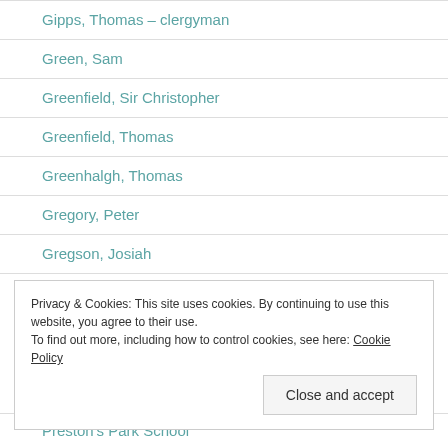Gipps, Thomas – clergyman
Green, Sam
Greenfield, Sir Christopher
Greenfield, Thomas
Greenhalgh, Thomas
Gregory, Peter
Gregson, Josiah
Privacy & Cookies: This site uses cookies. By continuing to use this website, you agree to their use. To find out more, including how to control cookies, see here: Cookie Policy
Preston's Park School